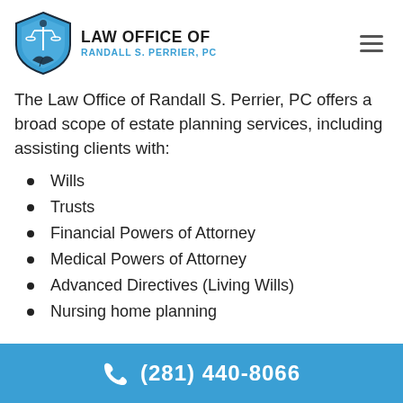[Figure (logo): Law Office of Randall S. Perrier PC shield logo with scales of justice and quill]
The Law Office of Randall S. Perrier, PC offers a broad scope of estate planning services, including assisting clients with:
Wills
Trusts
Financial Powers of Attorney
Medical Powers of Attorney
Advanced Directives (Living Wills)
Nursing home planning
(281) 440-8066